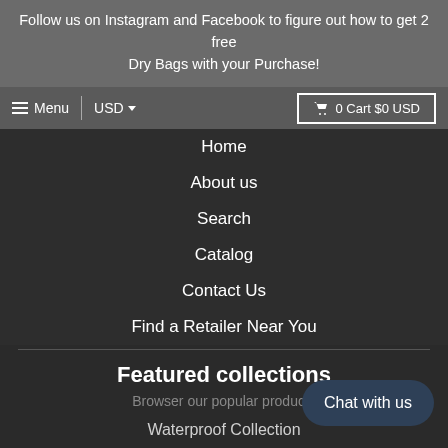Follow us on Instagram and Facebook to figure out how to get 2 free Dry Bags with your Purchase!
Menu | USD | 0 Cart $0 USD
Home
About us
Search
Catalog
Contact Us
Find a Retailer Near You
Featured collections
Browser our popular products
Waterproof Collection
Lifestyle Collection
about us
How it Works
Product Reviews